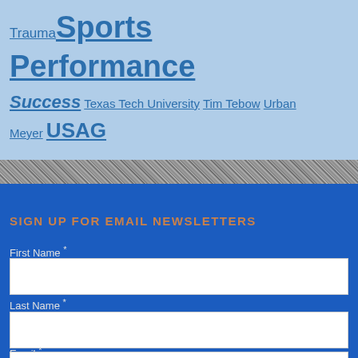Trauma Sports Performance
Success Texas Tech University Tim Tebow Urban Meyer USAG
SIGN UP FOR EMAIL NEWSLETTERS
First Name *
Last Name *
Email *